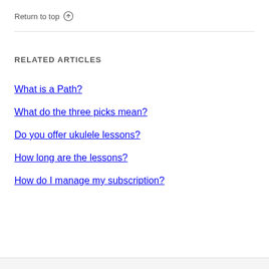Return to top ↑
RELATED ARTICLES
What is a Path?
What do the three picks mean?
Do you offer ukulele lessons?
How long are the lessons?
How do I manage my subscription?